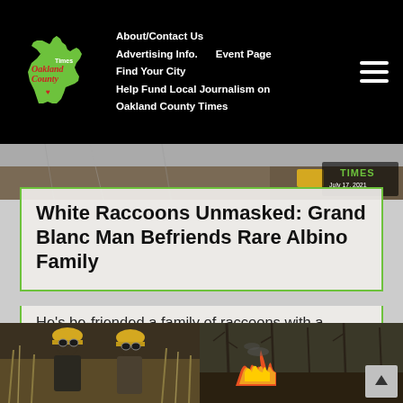Oakland County Times — About/Contact Us | Advertising Info. | Event Page | Find Your City | Help Fund Local Journalism on Oakland County Times
[Figure (photo): Oakland County Times logo with Michigan state outline in green]
[Figure (photo): Hero image of white raccoon fur, with Oakland County Times badge dated July 17, 2021]
White Raccoons Unmasked: Grand Blanc Man Befriends Rare Albino Family
He's be-friended a family of raccoons with a genetic mutation that makes their fur white and their eyes pink.
[Figure (photo): Two firefighters in yellow helmets standing in dry reeds]
[Figure (photo): Wildfire burning through brush and bare trees]